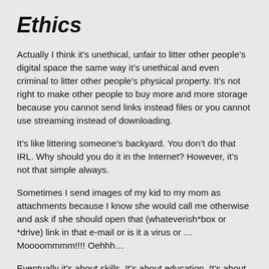Ethics
Actually I think it’s unethical, unfair to litter other people’s digital space the same way it’s unethical and even criminal to litter other people’s physical property. It’s not right to make other people to buy more and more storage because you cannot send links instead files or you cannot use streaming instead of downloading.
It’s like littering someone’s backyard. You don’t do that IRL. Why should you do it in the Internet? However, it’s not that simple always.
Sometimes I send images of my kid to my mom as attachments because I know she would call me otherwise and ask if she should open that (whateverish*box or *drive) link in that e-mail or is it a virus or … Moooommmm!!!! Oehhh…
Eventually it’s about skills. It’s about education. It’s about experience.
We – the responsible and aware e-citizens – should teach the less knowledgeable. Be it our parents, our…